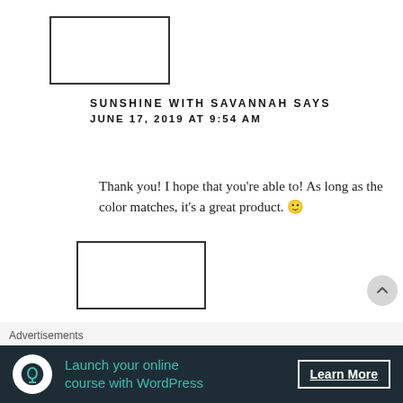[Figure (other): Avatar placeholder box, empty white rectangle with border]
SUNSHINE WITH SAVANNAH SAYS
JUNE 17, 2019 AT 9:54 AM
Thank you! I hope that you're able to! As long as the color matches, it's a great product. 🙂
[Figure (other): Avatar placeholder box, empty white rectangle with border]
ANTONIA_ SAYS      JUNE 18, 2019 AT 6:28 AM
Advertisements
[Figure (infographic): Advertisement banner: Launch your online course with WordPress. Learn More button. Dark background with teal text and white circle icon.]